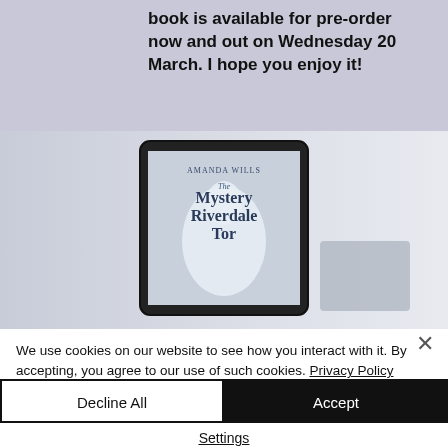book is available for pre-order now and out on Wednesday 20 March. I hope you enjoy it!
[Figure (photo): A tablet device displaying the book cover of 'The Mystery of Riverdale Tor' by Amanda Wills, featuring a white horse, shown on a light grey background with another device partially visible to the right.]
We use cookies on our website to see how you interact with it. By accepting, you agree to our use of such cookies. Privacy Policy
Decline All
Accept
Settings